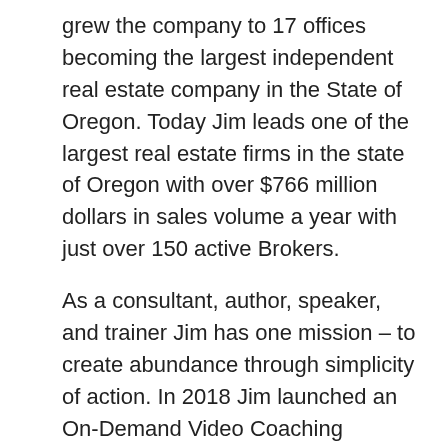grew the company to 17 offices becoming the largest independent real estate company in the State of Oregon. Today Jim leads one of the largest real estate firms in the state of Oregon with over $766 million dollars in sales volume a year with just over 150 active Brokers.
As a consultant, author, speaker, and trainer Jim has one mission – to create abundance through simplicity of action. In 2018 Jim launched an On-Demand Video Coaching platform designed for REALTORS to tap into highly focused information and actionable ideas based on thousands of interviews with top producers from across the country.  Learn more at www.erealestatecoach.com.